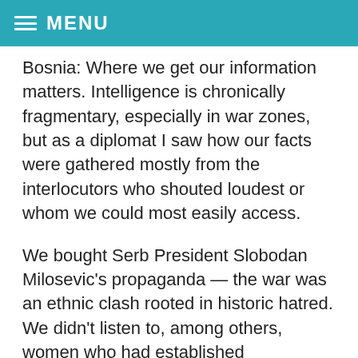MENU
Bosnia: Where we get our information matters. Intelligence is chronically fragmentary, especially in war zones, but as a diplomat I saw how our facts were gathered mostly from the interlocutors who shouted loudest or whom we could most easily access.
We bought Serb President Slobodan Milosevic's propaganda — the war was an ethnic clash rooted in historic hatred. We didn't listen to, among others, women who had established